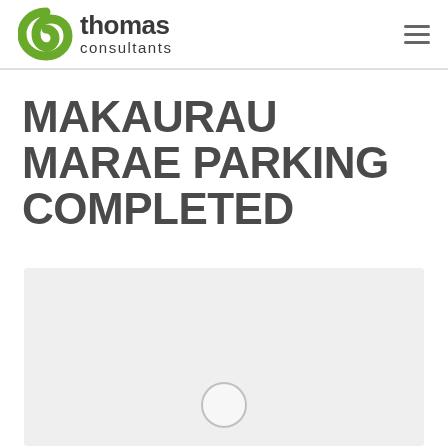thomas consultants
MAKAURAU MARAE PARKING COMPLETED
[Figure (photo): Light grey image placeholder with a circular play button icon at the bottom center, representing a video or photo of the Makaurau Marae parking project.]